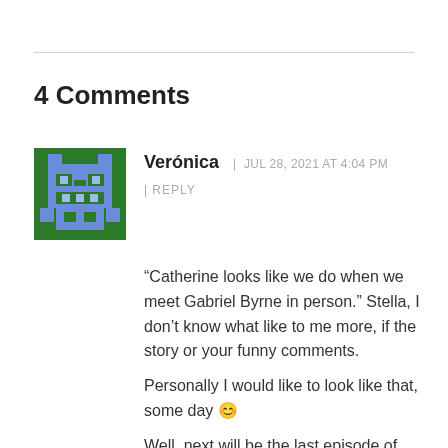4 Comments
[Figure (illustration): Pixel art avatar — green background with a blue pixelated robot/monster character]
Verónica  |  JUL 28, 2021 AT 4:04 PM
| REPLY
“Catherine looks like we do when we meet Gabriel Byrne in person.” Stella, I don’t know what like to me more, if the story or your funny comments.
Personally I would like to look like that, some day 😊
Well, next will be the last episode of Season 3. I don’t know what...